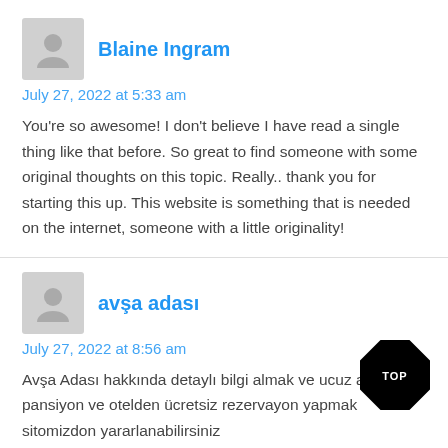[Figure (illustration): Gray avatar placeholder icon for Blaine Ingram]
Blaine Ingram
July 27, 2022 at 5:33 am
You're so awesome! I don't believe I have read a single thing like that before. So great to find someone with some original thoughts on this topic. Really.. thank you for starting this up. This website is something that is needed on the internet, someone with a little originality!
[Figure (illustration): Gray avatar placeholder icon for avşa adası]
avşa adası
July 27, 2022 at 8:56 am
Avşa Adası hakkında detaylı bilgi almak ve ucuz a... pansiyon ve otelden ücretsiz rezervayon yapmak sitomizdon yararlanabilirsiniz
[Figure (illustration): Black diamond TOP badge in bottom right corner]